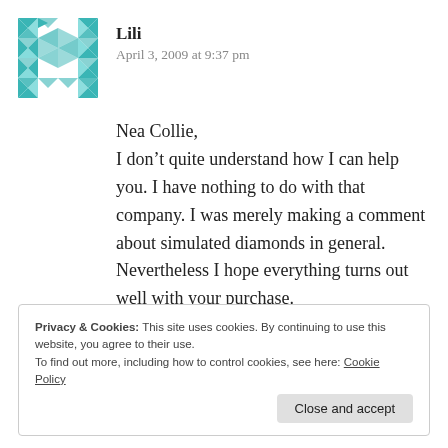[Figure (illustration): Teal/turquoise geometric quilt-pattern avatar icon with diamond and arrow shapes arranged in a square grid]
Lili
April 3, 2009 at 9:37 pm
Nea Collie,
I don’t quite understand how I can help you. I have nothing to do with that company. I was merely making a comment about simulated diamonds in general. Nevertheless I hope everything turns out well with your purchase.
Privacy & Cookies: This site uses cookies. By continuing to use this website, you agree to their use.
To find out more, including how to control cookies, see here: Cookie Policy
Close and accept